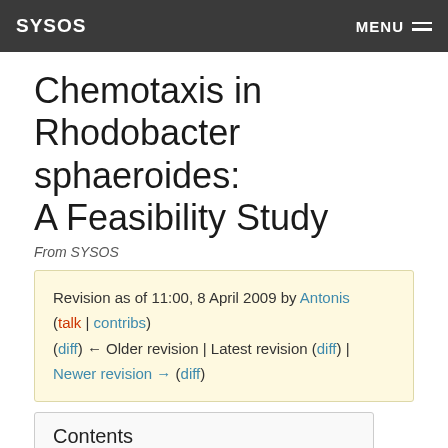SYSOS   MENU
Chemotaxis in Rhodobacter sphaeroides: A Feasibility Study
From SYSOS
Revision as of 11:00, 8 April 2009 by Antonis (talk | contribs)
(diff) ← Older revision | Latest revision (diff) | Newer revision → (diff)
Contents